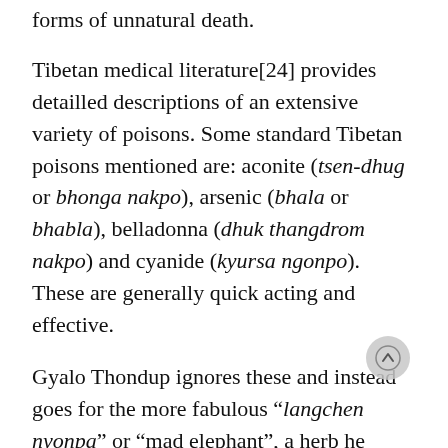forms of unnatural death.
Tibetan medical literature[24] provides detailled descriptions of an extensive variety of poisons. Some standard Tibetan poisons mentioned are: aconite (tsen-dhug or bhonga nakpo), arsenic (bhala or bhabla), belladonna (dhuk thangdrom nakpo) and cyanide (kyursa ngonpo). These are generally quick acting and effective.
Gyalo Thondup ignores these and instead goes for the more fabulous “langchen nyonpa” or “mad elephant”, a herb he claims “shuts down the digestive system” and starves the victim to death, which also conveniently explains why it took forty-four days for the Royal father to die. But generally speaking such undetectable, slow-acting poisons as thalium or polonium are modern discoveries.